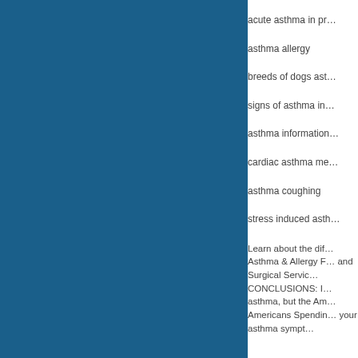[Figure (other): Solid dark blue rectangular panel occupying the left portion of the page]
acute asthma in pr…
asthma allergy
breeds of dogs ast…
signs of asthma in…
asthma information…
cardiac asthma me…
asthma coughing
stress induced asth…
Learn about the dif… Asthma & Allergy F… and Surgical Servic… CONCLUSIONS: I… asthma, but the Am… Americans Spendin… your asthma sympt…